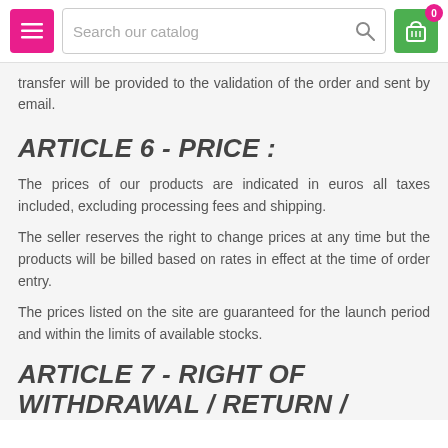Navigation bar with menu, search catalog, and cart (0 items)
transfer will be provided to the validation of the order and sent by email.
ARTICLE 6 - PRICE :
The prices of our products are indicated in euros all taxes included, excluding processing fees and shipping.
The seller reserves the right to change prices at any time but the products will be billed based on rates in effect at the time of order entry.
The prices listed on the site are guaranteed for the launch period and within the limits of available stocks.
ARTICLE 7 - RIGHT OF WITHDRAWAL / RETURN /